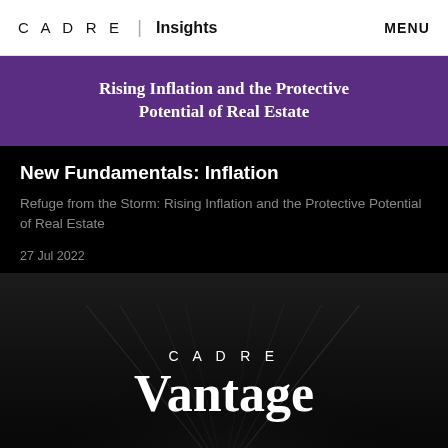CADRE | Insights  MENU
Rising Inflation and the Protective Potential of Real Estate
New Fundamentals: Inflation
Refuge from the Storm: Rising Inflation and the Protective Potential of Real Estate
27 Jul 2022
[Figure (illustration): CADRE Vantage logo over dark architectural background with sharp diagonal lines resembling skyscrapers or geometric structures]